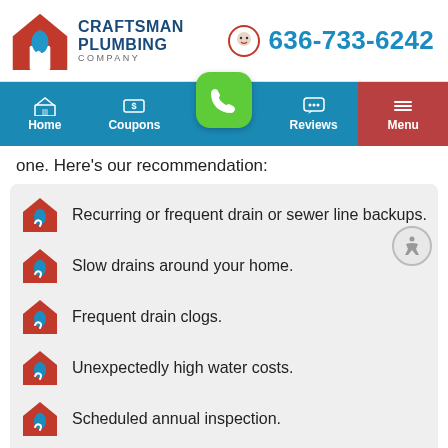Craftsman Plumbing Company | 636-733-6242
[Figure (screenshot): Navigation bar with Home, Coupons, Call, Reviews, and Menu buttons on teal/red background]
one. Here's our recommendation:
Recurring or frequent drain or sewer line backups.
Slow drains around your home.
Frequent drain clogs.
Unexpectedly high water costs.
Scheduled annual inspection.
Flooding or sewage smells on your lawn.